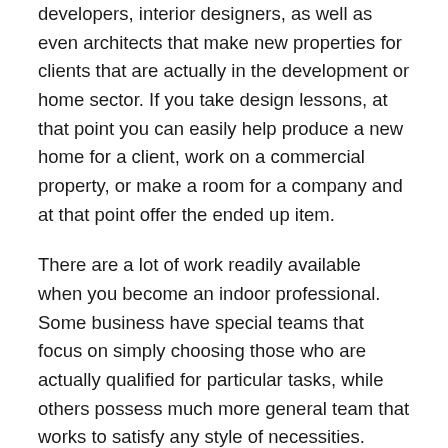developers, interior designers, as well as even architects that make new properties for clients that are actually in the development or home sector. If you take design lessons, at that point you can easily help produce a new home for a client, work on a commercial property, or make a room for a company and at that point offer the ended up item.
There are a lot of work readily available when you become an indoor professional. Some business have special teams that focus on simply choosing those who are actually qualified for particular tasks, while others possess much more general team that works to satisfy any style of necessities.
Leave a Reply
Your email address will not be published. Required fields are